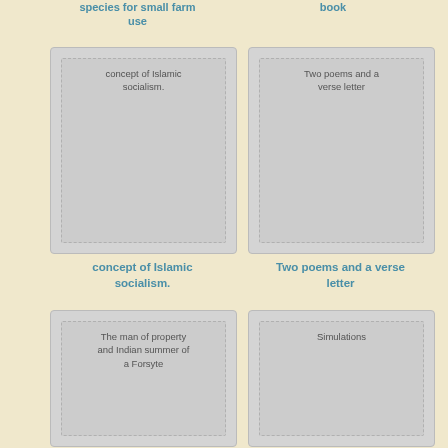species for small farm use
book
[Figure (illustration): Book card placeholder for 'concept of Islamic socialism.']
[Figure (illustration): Book card placeholder for 'Two poems and a verse letter']
concept of Islamic socialism.
Two poems and a verse letter
[Figure (illustration): Book card placeholder for 'The man of property and Indian summer of a Forsyte']
[Figure (illustration): Book card placeholder for 'Simulations']